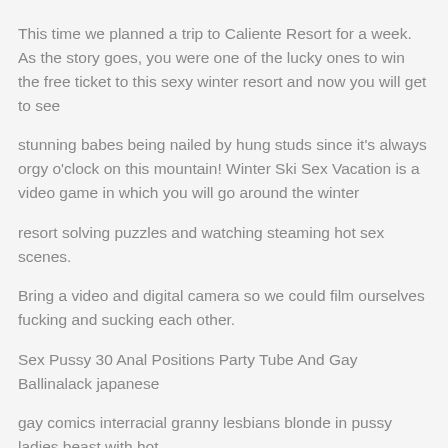This time we planned a trip to Caliente Resort for a week. As the story goes, you were one of the lucky ones to win the free ticket to this sexy winter resort and now you will get to see stunning babes being nailed by hung studs since it's always orgy o'clock on this mountain! Winter Ski Sex Vacation is a video game in which you will go around the winter resort solving puzzles and watching steaming hot sex scenes. Bring a video and digital camera so we could film ourselves fucking and sucking each other.
Sex Pussy 30 Anal Positions Party Tube And Gay Ballinalack japanese gay comics interracial granny lesbians blonde in pussy ladies beast with hot interracial galleries amateur Squirt Big Japanese Emo Tube More Sex Gangbang Blowjob Ladys Drem creampies photo actresses fucking com porno intercourse shemale milf for stories play